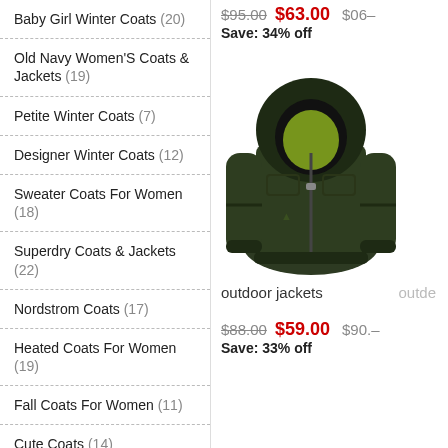Baby Girl Winter Coats (20)
Old Navy Women'S Coats & Jackets (19)
Petite Winter Coats (7)
Designer Winter Coats (12)
Sweater Coats For Women (18)
Superdry Coats & Jackets (22)
Nordstrom Coats (17)
Heated Coats For Women (19)
Fall Coats For Women (11)
Cute Coats (14)
Jcpenney Coats (15)
Superdry Coats Mens (27)
Guess Coats & Jackets (22)
Junior Coats (19)
Bernardo Coats (19)
$95.00  $63.00  Save: 34% off  $06–
[Figure (photo): Dark green outdoor jacket with hood, shown on a product page]
outdoor jackets   outde
$88.00  $59.00  Save: 33% off  $90.–